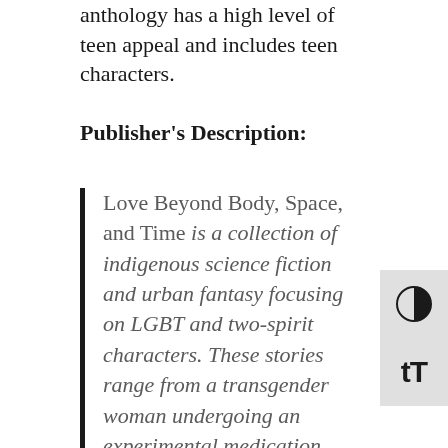anthology has a high level of teen appeal and includes teen characters.
Publisher's Description:
Love Beyond Body, Space, and Time is a collection of indigenous science fiction and urban fantasy focusing on LGBT and two-spirit characters. These stories range from a transgender woman undergoing an experimental medication that enables her to live the lives of her maternal ancestors to young lovers